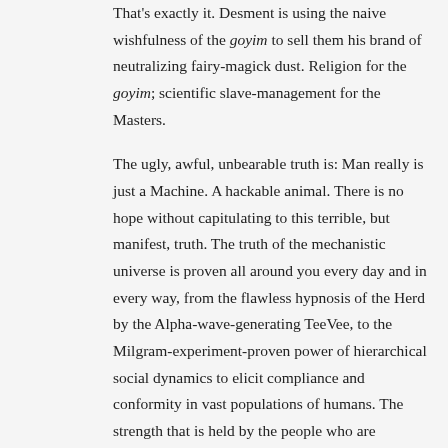That's exactly it. Desment is using the naive wishfulness of the goyim to sell them his brand of neutralizing fairy-magick dust. Religion for the goyim; scientific slave-management for the Masters.
The ugly, awful, unbearable truth is: Man really is just a Machine. A hackable animal. There is no hope without capitulating to this terrible, but manifest, truth. The truth of the mechanistic universe is proven all around you every day and in every way, from the flawless hypnosis of the Herd by the Alpha-wave-generating TeeVee, to the Milgram-experiment-proven power of hierarchical social dynamics to elicit compliance and conformity in vast populations of humans. The strength that is held by the people who are enslaving the masses right now comes from the fact that They are capable of accepting the unappealing reality, and of embracing it. That's precisely why they're as powerful as They are. They are conforming Their behavior to reality, rather than living by comforting lies. They are able to look lucidly at the horror of the Great Machine of the Cosmos, but were